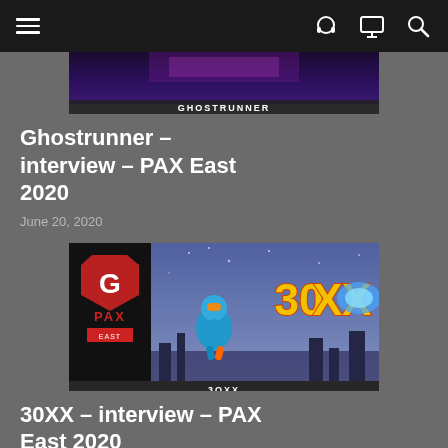Navigation bar with menu icon, headphone icon, monitor icon, search icon
[Figure (screenshot): Ghostrunner game thumbnail with dark gradient and 'GHOSTRUNNER' label at bottom]
Ghostrunner – interview – PAX East 2020
June 20, 2020
[Figure (screenshot): 30XX game thumbnail with PAX logo on left side and robot character flying with '30XX' game logo, '3OXX' label at bottom]
30XX – interview – PAX East 2020
June 19, 2020